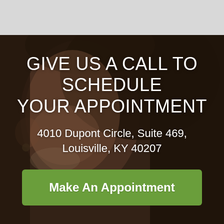[Figure (photo): Background photo of a smiling woman, partially visible from the side/profile, with dark hair. The image is darkened with a brown/dark overlay. The upper portion of the page has a light gray background strip.]
GIVE US A CALL TO SCHEDULE YOUR APPOINTMENT
4010 Dupont Circle, Suite 469, Louisville, KY 40207
Make An Appointment